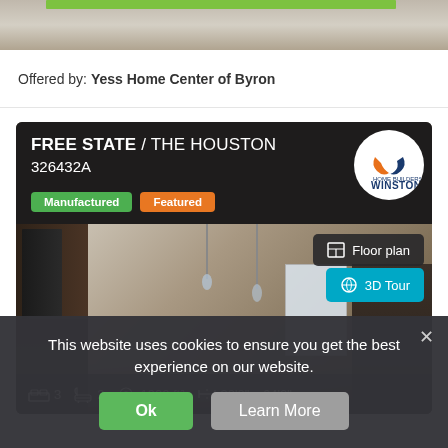[Figure (photo): Partial view of a manufactured home exterior with green bar accent at top]
Offered by: Yess Home Center of Byron
[Figure (photo): Manufactured home listing card for FREE STATE / THE HOUSTON 326432A by Winston Home Builders, showing kitchen interior, with Manufactured and Featured tags, Floor plan and 3D Tour buttons, and specs: 3 bedrooms, 2 bathrooms, 1920 ft², 30'0" x 64'0"]
This website uses cookies to ensure you get the best experience on our website.